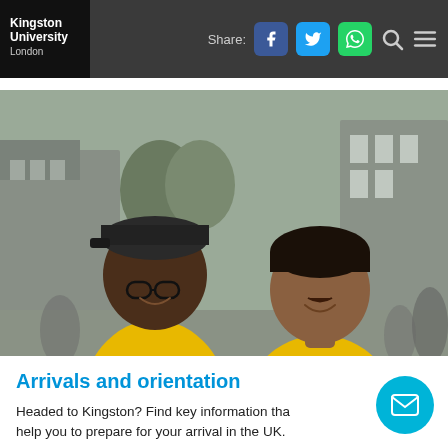Kingston University London | Share:
[Figure (photo): Two men smiling, both wearing bright yellow Kingston University t-shirts, standing outdoors on a university campus. The man on the left is wearing a dark cap and glasses; the man on the right has dark hair. Background shows blurred buildings and people.]
Arrivals and orientation
Headed to Kingston? Find key information that will help you to prepare for your arrival in the UK.